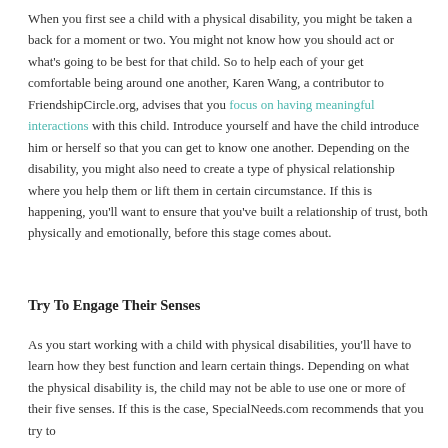When you first see a child with a physical disability, you might be taken a back for a moment or two. You might not know how you should act or what's going to be best for that child. So to help each of your get comfortable being around one another, Karen Wang, a contributor to FriendshipCircle.org, advises that you focus on having meaningful interactions with this child. Introduce yourself and have the child introduce him or herself so that you can get to know one another. Depending on the disability, you might also need to create a type of physical relationship where you help them or lift them in certain circumstance. If this is happening, you'll want to ensure that you've built a relationship of trust, both physically and emotionally, before this stage comes about.
Try To Engage Their Senses
As you start working with a child with physical disabilities, you'll have to learn how they best function and learn certain things. Depending on what the physical disability is, the child may not be able to use one or more of their five senses. If this is the case, SpecialNeeds.com recommends that you try to